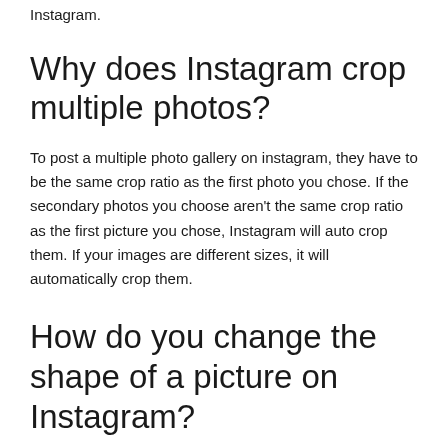Instagram.
Why does Instagram crop multiple photos?
To post a multiple photo gallery on instagram, they have to be the same crop ratio as the first photo you chose. If the secondary photos you choose aren't the same crop ratio as the first picture you chose, Instagram will auto crop them. If your images are different sizes, it will automatically crop them.
How do you change the shape of a picture on Instagram?